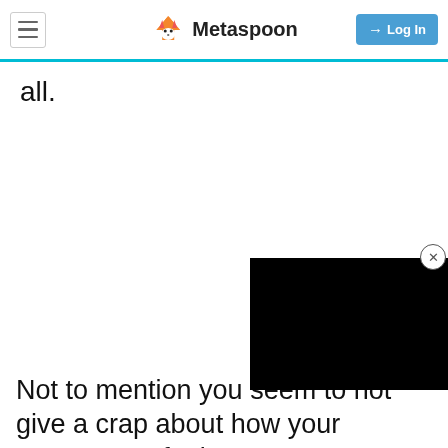Metaspoon — Log In
all.
[Figure (screenshot): Black video player overlay with a close (X) button in the top-right corner]
Not to mention you seem to not give a crap about how your parents' cat feels